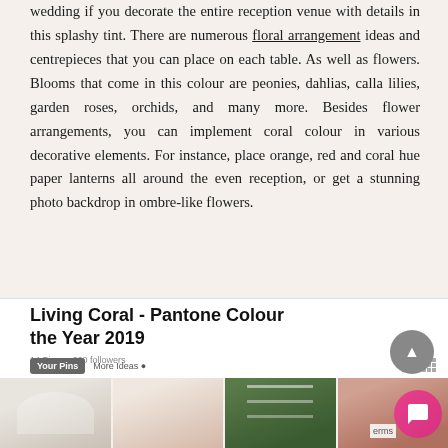wedding if you decorate the entire reception venue with details in this splashy tint. There are numerous floral arrangement ideas and centrepieces that you can place on each table. As well as flowers. Blooms that come in this colour are peonies, dahlias, calla lilies, garden roses, orchids, and many more. Besides flower arrangements, you can implement coral colour in various decorative elements. For instance, place orange, red and coral hue paper lanterns all around the even reception, or get a stunning photo backdrop in ombre-like flowers.
[Figure (screenshot): Screenshot of a Pinterest board titled 'Living Coral - Pantone Colour of the Year 2019' showing a grid of wedding-related images including a white backdrop, a floral table setting, string lights in greenery, and a coral/pink image. Interface elements include a scroll-up button, Your Pins and More Ideas tabs, grid view icons, a chat button, and a terms badge.]